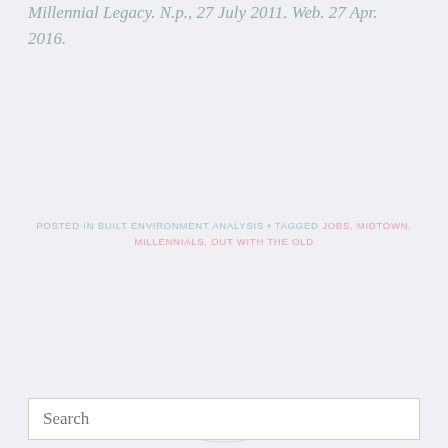Millennial Legacy. N.p., 27 July 2011. Web. 27 Apr. 2016.
POSTED IN BUILT ENVIRONMENT ANALYSIS • TAGGED JOBS, MIDTOWN, MILLENNIALS, OUT WITH THE OLD
[Figure (illustration): Decorative ornamental divider with two horizontal lines and a central oval rope/knot motif]
Search